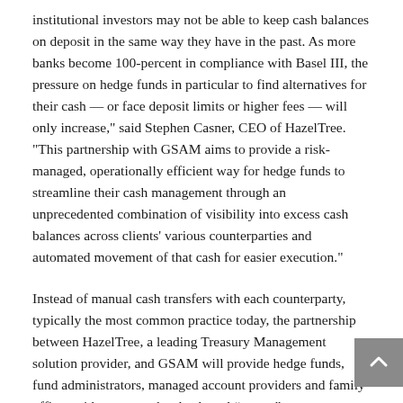institutional investors may not be able to keep cash balances on deposit in the same way they have in the past. As more banks become 100-percent in compliance with Basel III, the pressure on hedge funds in particular to find alternatives for their cash — or face deposit limits or higher fees — will only increase," said Stephen Casner, CEO of HazelTree. "This partnership with GSAM aims to provide a risk-managed, operationally efficient way for hedge funds to streamline their cash management through an unprecedented combination of visibility into excess cash balances across clients' various counterparties and automated movement of that cash for easier execution."
Instead of manual cash transfers with each counterparty, typically the most common practice today, the partnership between HazelTree, a leading Treasury Management solution provider, and GSAM will provide hedge funds, fund administrators, managed account providers and family offices with automated, rules-based “sweep” access to solutions managed by GSAM. Clients will have a